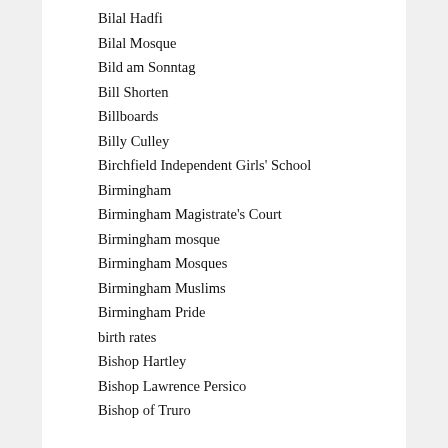Bilal Hadfi
Bilal Mosque
Bild am Sonntag
Bill Shorten
Billboards
Billy Culley
Birchfield Independent Girls' School
Birmingham
Birmingham Magistrate's Court
Birmingham mosque
Birmingham Mosques
Birmingham Muslims
Birmingham Pride
birth rates
Bishop Hartley
Bishop Lawrence Persico
Bishop of Truro